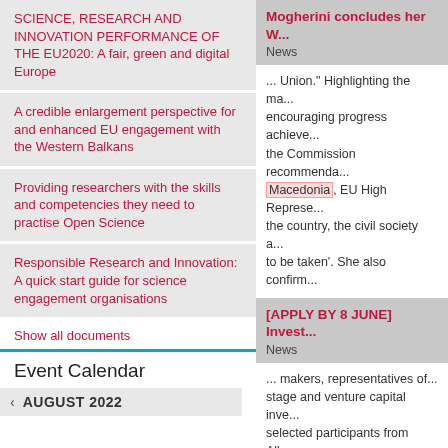SCIENCE, RESEARCH AND INNOVATION PERFORMANCE OF THE EU2020: A fair, green and digital Europe
A credible enlargement perspective for and enhanced EU engagement with the Western Balkans
Providing researchers with the skills and competencies they need to practise Open Science
Responsible Research and Innovation: A quick start guide for science engagement organisations
Show all documents
Event Calendar
AUGUST 2022
Mogherini concludes her W...
News
... Union." Highlighting the ma... encouraging progress achieve... the Commission recommenda... Macedonia, EU High Represe... the country, the civil society a... to be taken'. She also confirm...
[APPLY BY 8 JUNE] Invest...
News
... makers, representatives of... stage and venture capital inve... selected participants from Alb... Former Yugoslav Republic of... expenses.   Apply to participa... submit an expression of intere...
Videos from the "Smart Sp... Conference"
News